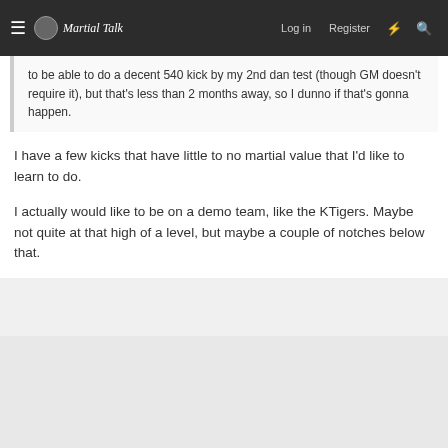Martial Talk — Log in  Register
to be able to do a decent 540 kick by my 2nd dan test (though GM doesn't require it), but that's less than 2 months away, so I dunno if that's gonna happen.
I have a few kicks that have little to no martial value that I'd like to learn to do.
I actually would like to be on a demo team, like the KTigers. Maybe not quite at that high of a level, but maybe a couple of notches below that.